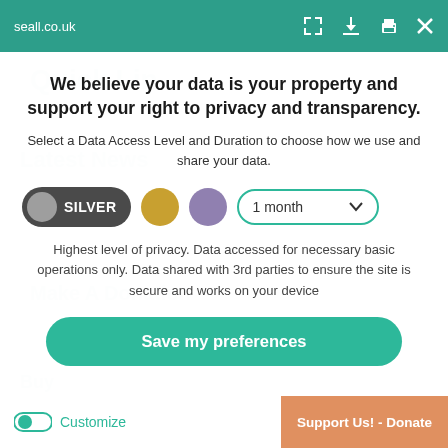seall.co.uk
We believe your data is your property and support your right to privacy and transparency.
Select a Data Access Level and Duration to choose how we use and share your data.
[Figure (screenshot): Privacy level selector showing SILVER button (dark pill with grey circle), gold circle option, purple circle option, and a '1 month' dropdown selector]
Highest level of privacy. Data accessed for necessary basic operations only. Data shared with 3rd parties to ensure the site is secure and works on your device
Save my preferences
Customize
Support Us! - Donate